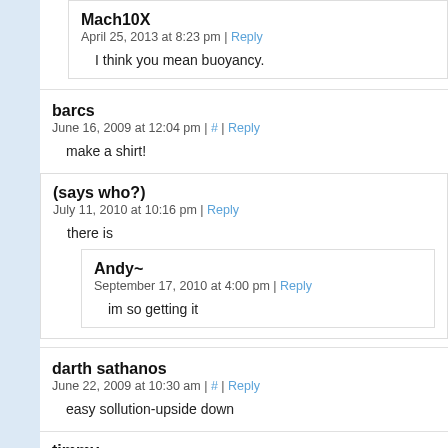Mach10X
April 25, 2013 at 8:23 pm | Reply
I think you mean buoyancy.
barcs
June 16, 2009 at 12:04 pm | # | Reply
make a shirt!
(says who?)
July 11, 2010 at 10:16 pm | Reply
there is
Andy~
September 17, 2010 at 4:00 pm | Reply
im so getting it
darth sathanos
June 22, 2009 at 10:30 am | # | Reply
easy sollution-upside down
timmy
June 22, 2009 at 4:51 pm | # | Reply